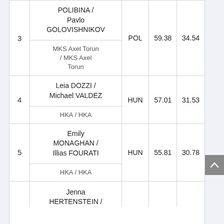| Rank | Name / Club | Nation | Score1 | Score2 |
| --- | --- | --- | --- | --- |
| 3 | POLIBINA / Pavlo GOLOVISHNIKOV
MKS Axel Torun / MKS Axel Torun | POL | 59.38 | 34.54 |
| 4 | Leia DOZZI / Michael VALDEZ
HKA / HKA | HUN | 57.01 | 31.53 |
| 5 | Emily MONAGHAN / Illias FOURATI
HKA / HKA | HUN | 55.81 | 30.78 |
|  | Jenna HERTENSTEIN / |  |  |  |